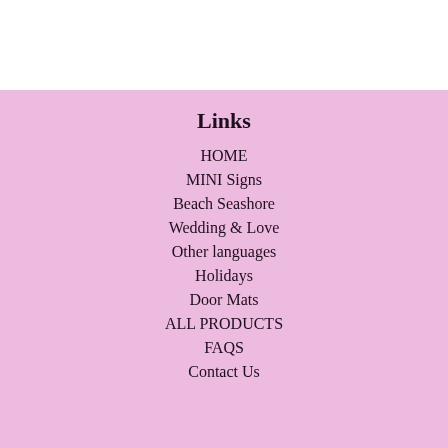Links
HOME
MINI Signs
Beach Seashore
Wedding & Love
Other languages
Holidays
Door Mats
ALL PRODUCTS
FAQS
Contact Us